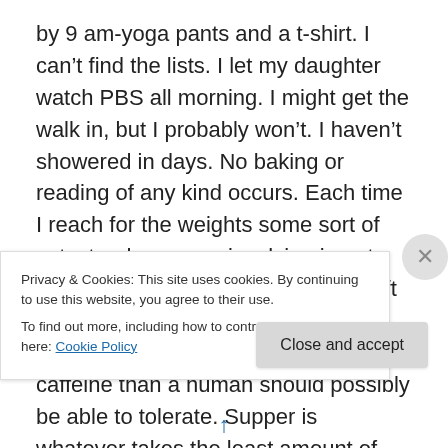by 9 am-yoga pants and a t-shirt. I can't find the lists. I let my daughter watch PBS all morning. I might get the walk in, but I probably won't. I haven't showered in days. No baking or reading of any kind occurs. Each time I reach for the weights some sort of catastrophe occurs involving insert name here. I eat a whole box of Kraft mac and cheese for lunch plus a handful of M&Ms. I consume more caffeine than a human should possibly be able to tolerate. Supper is whatever takes the least amount of time (usually some sort of pasta). I spend half the day checking Facebook. I apply for no jobs because the three
Privacy & Cookies: This site uses cookies. By continuing to use this website, you agree to their use.
To find out more, including how to control cookies, see here: Cookie Policy